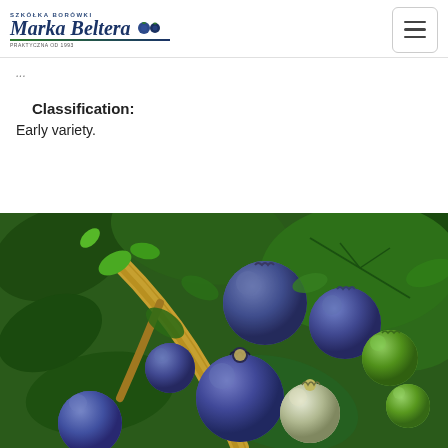Szkółka Borówki Marka Beltera
(partial page title, cut off at top)
Classification:
Early variety.
[Figure (photo): Close-up photograph of blueberries on a bush, showing ripe blue-purple berries and some unripe green berries among green leaves and a woody stem]